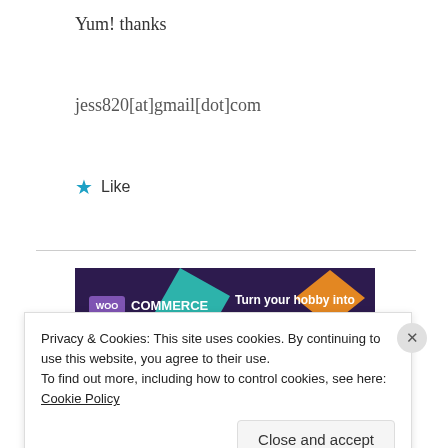Yum! thanks
jess820[at]gmail[dot]com
★ Like
[Figure (screenshot): WooCommerce advertisement banner: 'Turn your hobby into a business in 8 steps']
REPORT THIS AD
Search this...
Privacy & Cookies: This site uses cookies. By continuing to use this website, you agree to their use.
To find out more, including how to control cookies, see here: Cookie Policy
Close and accept